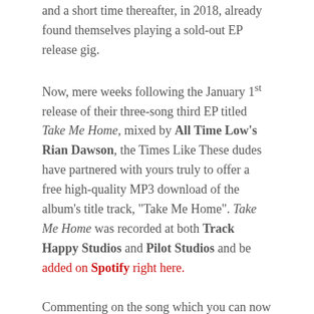and a short time thereafter, in 2018, already found themselves playing a sold-out EP release gig.
Now, mere weeks following the January 1st release of their three-song third EP titled Take Me Home, mixed by All Time Low's Rian Dawson, the Times Like These dudes have partnered with yours truly to offer a free high-quality MP3 download of the album's title track, "Take Me Home". Take Me Home was recorded at both Track Happy Studios and Pilot Studios and be added on Spotify right here.
Commenting on the song which you can now download just above, the band said: "'Take Me Home' is a song that will bring you back to the Honeymoon Phase of your relationships where you're blinded by new love and beautiful feelings."